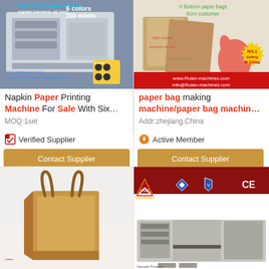[Figure (photo): Napkin paper printing machine, industrial machinery with text overlay: multi colors, register tolerance ±0.1mm, 6 colors, 200 m/min]
Napkin Paper Printing Machine For Sale With Six…
MOQ:1set
✅ Verified Supplier
Contact Supplier
[Figure (photo): V Bottom paper bags from customer, kraft paper bags with logo, thumbs up icon with NO.1 Selling In China badge, red banner with www.Ruian-machines.com and info@Ruian-machines.com]
paper bag making machine/paper bag machin…
Addr:zhejiang.China
Active Member
Contact Supplier
[Figure (photo): Kraft paper bag with twisted handles, brown shopping bag standing upright with flowers in background]
[Figure (photo): Square Bottom Paper Bag Making Machine, LSB-200 Roll Feeding Square Bottom Paper Bag making Machine, machinery image with logos including CE mark]